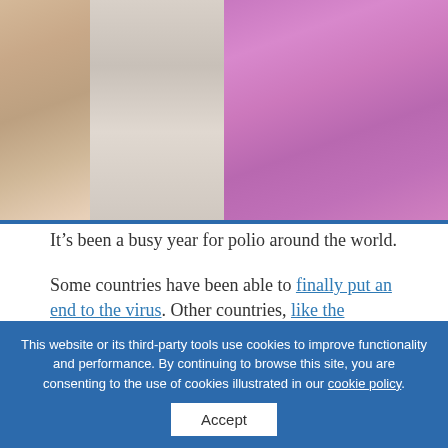[Figure (photo): Close-up photo of a vaccination being administered on a child's arm wearing a purple/pink sleeveless top]
It’s been a busy year for polio around the world.
Some countries have been able to finally put an end to the virus. Other countries, like the Philippines, have found unexpected returns of polio.
But, as we head into a new decade, there’s hope to end polio completely.
This website or its third-party tools use cookies to improve functionality and performance. By continuing to browse this site, you are consenting to the use of cookies illustrated in our cookie policy.